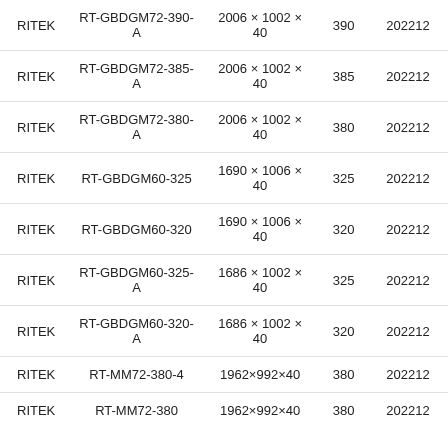| RITEK | RT-GBDGM72-390-A | 2006 × 1002 × 40 | 390 | 202212 |
| RITEK | RT-GBDGM72-385-A | 2006 × 1002 × 40 | 385 | 202212 |
| RITEK | RT-GBDGM72-380-A | 2006 × 1002 × 40 | 380 | 202212 |
| RITEK | RT-GBDGM60-325 | 1690 × 1006 × 40 | 325 | 202212 |
| RITEK | RT-GBDGM60-320 | 1690 × 1006 × 40 | 320 | 202212 |
| RITEK | RT-GBDGM60-325-A | 1686 × 1002 × 40 | 325 | 202212 |
| RITEK | RT-GBDGM60-320-A | 1686 × 1002 × 40 | 320 | 202212 |
| RITEK | RT-MM72-380-4 | 1962×992×40 | 380 | 202212 |
| RITEK | RT-MM72-380 | 1962×992×40 | 380 | 202212 |